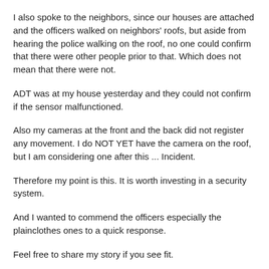I also spoke to the neighbors, since our houses are attached and the officers walked on neighbors' roofs, but aside from hearing the police walking on the roof, no one could confirm that there were other people prior to that. Which does not mean that there were not.
ADT was at my house yesterday and they could not confirm if the sensor malfunctioned.
Also my cameras at the front and the back did not register any movement. I do NOT YET have the camera on the roof, but I am considering one after this ... Incident.
Therefore my point is this. It is worth investing in a security system.
And I wanted to commend the officers especially the plainclothes ones to a quick response.
Feel free to share my story if you see fit.